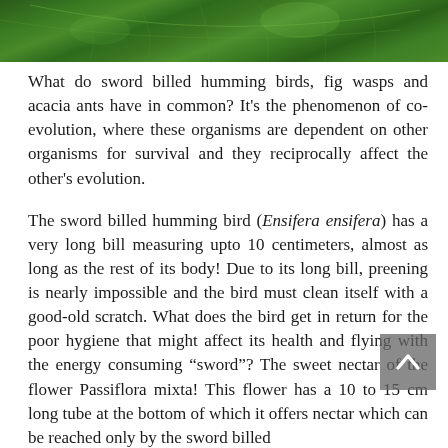[Figure (photo): Close-up photograph of a green leaf showing veins and texture, occupying the top portion of the page.]
What do sword billed humming birds, fig wasps and acacia ants have in common? It’s the phenomenon of co-evolution, where these organisms are dependent on other organisms for survival and they reciprocally affect the other’s evolution.
The sword billed humming bird (Ensifera ensifera) has a very long bill measuring upto 10 centimeters, almost as long as the rest of its body! Due to its long bill, preening is nearly impossible and the bird must clean itself with a good-old scratch. What does the bird get in return for the poor hygiene that might affect its health and flying with the energy consuming “sword”? The sweet nectar of the flower Passiflora mixta! This flower has a 10 to 15 cm long tube at the bottom of which it offers nectar which can be reached only by the sword billed